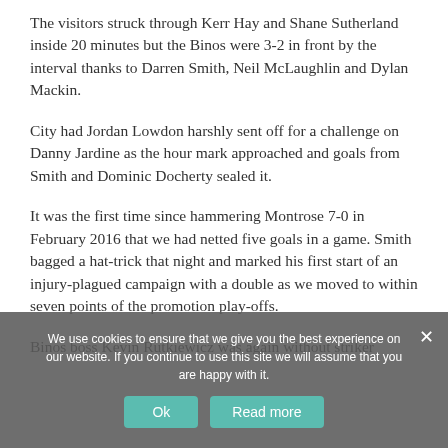The visitors struck through Kerr Hay and Shane Sutherland inside 20 minutes but the Binos were 3-2 in front by the interval thanks to Darren Smith, Neil McLaughlin and Dylan Mackin.
City had Jordan Lowdon harshly sent off for a challenge on Danny Jardine as the hour mark approached and goals from Smith and Dominic Docherty sealed it.
It was the first time since hammering Montrose 7-0 in February 2016 that we had netted five goals in a game. Smith bagged a hat-trick that night and marked his first start of an injury-plagued campaign with a double as we moved to within seven points of the promotion play-offs.
Binos boss Kevin Rutkiewicz was again without striker
We use cookies to ensure that we give you the best experience on our website. If you continue to use this site we will assume that you are happy with it.